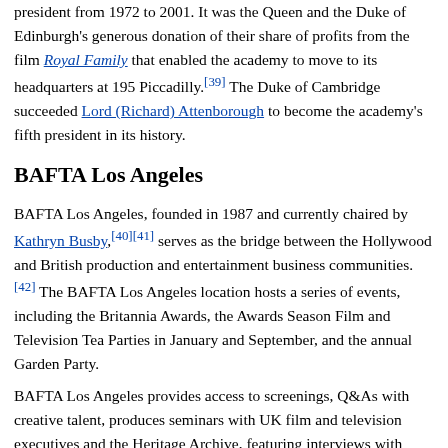president from 1972 to 2001. It was the Queen and the Duke of Edinburgh's generous donation of their share of profits from the film Royal Family that enabled the academy to move to its headquarters at 195 Piccadilly.[39] The Duke of Cambridge succeeded Lord (Richard) Attenborough to become the academy's fifth president in its history.
BAFTA Los Angeles
BAFTA Los Angeles, founded in 1987 and currently chaired by Kathryn Busby,[40][41] serves as the bridge between the Hollywood and British production and entertainment business communities. [42] The BAFTA Los Angeles location hosts a series of events, including the Britannia Awards, the Awards Season Film and Television Tea Parties in January and September, and the annual Garden Party.
BAFTA Los Angeles provides access to screenings, Q&As with creative talent, produces seminars with UK film and television executives and the Heritage Archive, featuring interviews with British members of the film and television industries. The Los Angeles location also hosts the Student Film Awards and has an active Scholarship Program offering financial support and mentorship to UK students studying in the US. It created The Inner